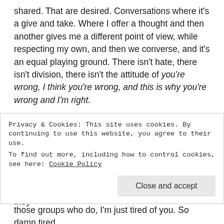shared. That are desired. Conversations where it's a give and take. Where I offer a thought and then another gives me a different point of view, while respecting my own, and then we converse, and it's an equal playing ground. There isn't hate, there isn't division, there isn't the attitude of you're wrong, I think you're wrong, and this is why you're wrong and I'm right.
Have you noticed that? Maybe I'm a minority. Maybe it's because I place small test feelers out that I don't realize are test feelers until after comment and comment of hatred and telling me I'm wrong (not directly because passive aggressive for the win these days too) and why they believe it to...
Privacy & Cookies: This site uses cookies. By continuing to use this website, you agree to their use. To find out more, including how to control cookies, see here: Cookie Policy
those groups who do, I'm just tired of you. So damn tired